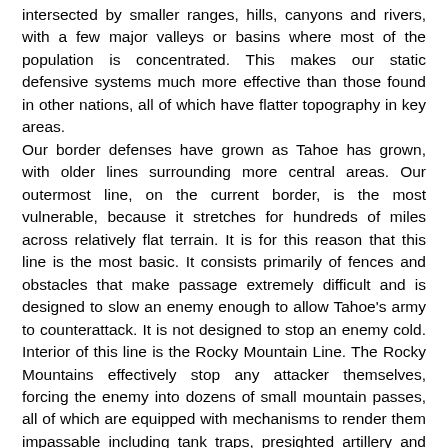intersected by smaller ranges, hills, canyons and rivers, with a few major valleys or basins where most of the population is concentrated. This makes our static defensive systems much more effective than those found in other nations, all of which have flatter topography in key areas. Our border defenses have grown as Tahoe has grown, with older lines surrounding more central areas. Our outermost line, on the current border, is the most vulnerable, because it stretches for hundreds of miles across relatively flat terrain. It is for this reason that this line is the most basic. It consists primarily of fences and obstacles that make passage extremely difficult and is designed to slow an enemy enough to allow Tahoe's army to counterattack. It is not designed to stop an enemy cold. Interior of this line is the Rocky Mountain Line. The Rocky Mountains effectively stop any attacker themselves, forcing the enemy into dozens of small mountain passes, all of which are equipped with mechanisms to render them impassable including tank traps, presighted artillery and deep set underground forts in the mountains holding artillery, mortars and missiles. All bridges are also pre-designed with slots for explosives to destroy them. As few as a hundred thousand soldiers could effectively hold the entire line against a force ten times their size.